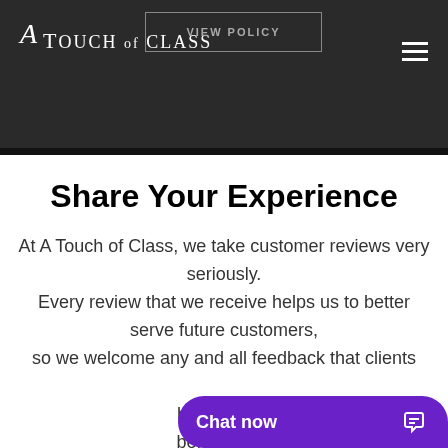A Touch of Class
VIEW POLICY
Share Your Experience
At A Touch of Class, we take customer reviews very seriously. Every review that we receive helps us to better serve future customers, so we welcome any and all feedback that clients have for us. before, plea...
Chat now